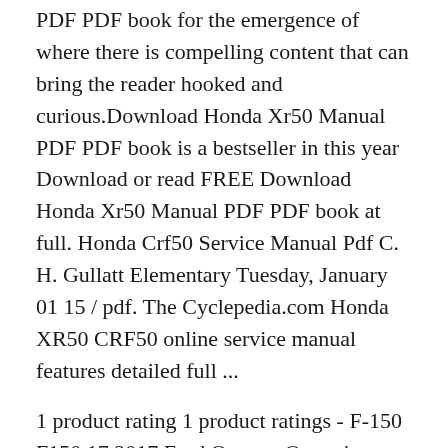PDF PDF book for the emergence of where there is compelling content that can bring the reader hooked and curious.Download Honda Xr50 Manual PDF PDF book is a bestseller in this year Download or read FREE Download Honda Xr50 Manual PDF PDF book at full. Honda Crf50 Service Manual Pdf C. H. Gullatt Elementary Tuesday, January 01 15 / pdf. The Cyclepedia.com Honda XR50 CRF50 online service manual features detailed full ...
1 product rating 1 product ratings - F-150 F150 17 2017 Ford Owners Owner's Manual Set With Case OEM Ford f150 owners manual 2017 Porepunkah FORD F150 2017 13.G Owners Manual view, print and download online for free. 599 Pages, PDF Size 7.34 MB. Search in FORD F150 2017 13.G